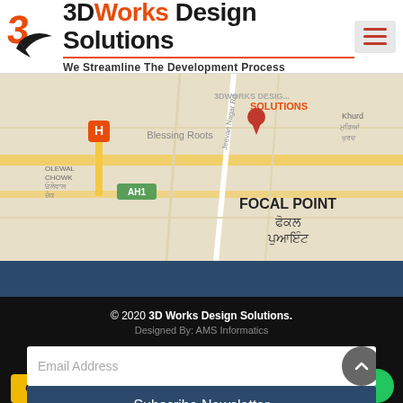[Figure (logo): 3DWorks Design Solutions logo with stylized 3D arrow icon, company name in black and orange, red underline, and tagline 'We Streamline The Development Process']
[Figure (map): Google Maps screenshot showing Focal Point area with 3DWorks Design Solutions location pin marked in red, Blessing Roots area, AH1 highway, and Jeevan Nagar Rd visible]
© 2020 3D Works Design Solutions.
Designed By: AMS Informatics
Email Address
Subscribe Newsletter
[Figure (infographic): Social media icons: Facebook (f), YouTube (play button), LinkedIn (in)]
GET A QUOTE